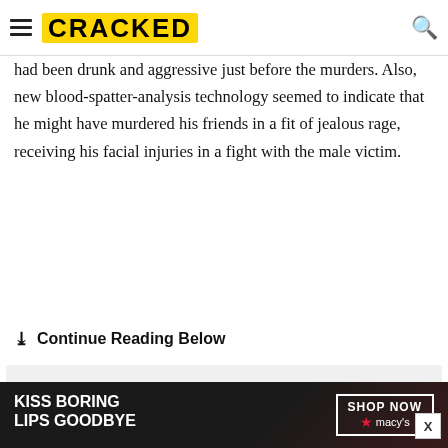CRACKED
had been drunk and aggressive just before the murders. Also, new blood-spatter-analysis technology seemed to indicate that he might have murdered his friends in a fit of jealous rage, receiving his facial injuries in a fight with the male victim.
Continue Reading Below
[Figure (other): Advertisement placeholder box with gray background and 'Advertisement' label, with close button X]
[Figure (other): Banner advertisement: 'KISS BORING LIPS GOODBYE' with SHOP NOW button and Macy's star logo on dark background]